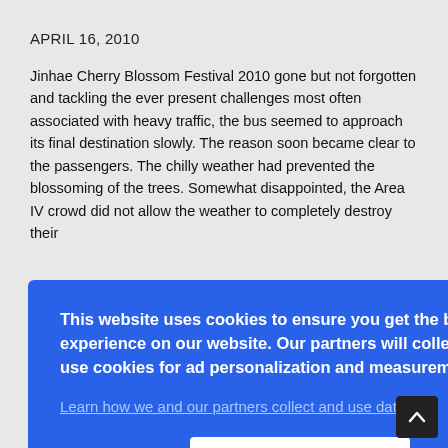APRIL 16, 2010
Jinhae Cherry Blossom Festival 2010 gone but not forgotten and tackling the ever present challenges most often associated with heavy traffic, the bus seemed to approach its final destination slowly. The reason soon became clear to the passengers. The chilly weather had prevented the blossoming of the trees. Somewhat disappointed, the Area IV crowd did not allow the weather to completely destroy their [...]own [...] t. [...] his [...] d to [...] ed a [...] in [...] n [...] here [...] ness and celebration. For the Group IV, thanking on Camp Walker Tour and Travel Services, the change in weather was the jolt needed to put the
[Figure (screenshot): Cookie consent overlay dialog on a blue (#2962e8) background. Contains bold white text: 'This website uses cookies to ensure you get the best experience on our website. Our partners will collect data and use cookies for ad personalization and measurement.' followed by a blue underlined link 'Learn how we and our partners collect and use data.' and a white OK button centered at the bottom.]